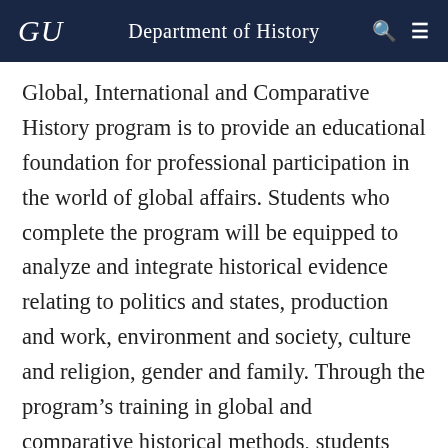GU | Department of History
Global, International and Comparative History program is to provide an educational foundation for professional participation in the world of global affairs. Students who complete the program will be equipped to analyze and integrate historical evidence relating to politics and states, production and work, environment and society, culture and religion, gender and family. Through the program’s training in global and comparative historical methods, students will acquire a strong foundation in historical knowledge and an ability to balance global and local perspectives. They will also emerge with foreign language, writing and communication skills enabling them to participate